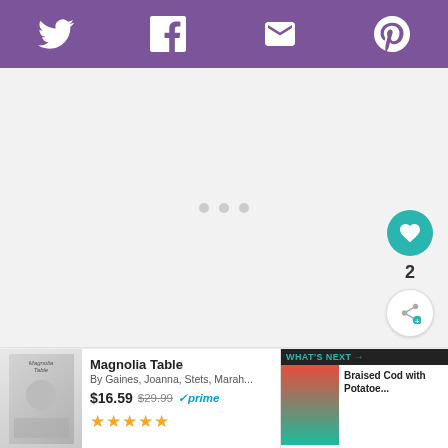Social share bar with Twitter, Facebook, Email, Pinterest icons
[Figure (screenshot): Large light gray content area placeholder with three small dots in the center indicating a loading or carousel state]
[Figure (other): Heart/like button (teal circle with heart icon), count badge showing 2, and share button (white circle with share icon)]
[Figure (photo): Book cover thumbnail for Magnolia Table]
Magnolia Table
By Gaines, Joanna, Stets, Marah...
$16.59  $29.99  ✓prime
★★★★★
[Figure (screenshot): WHAT'S NEXT panel showing Braised Cod with Potatoe... with food thumbnail images]